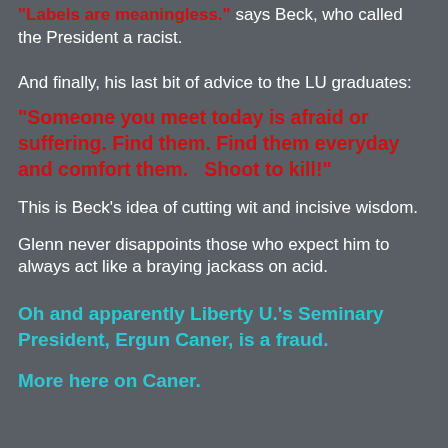"Labels are meaningless." says Beck, who called the President a racist.
And finally, his last bit of advice to the LU graduates:
"Someone you meet today is afraid or suffering. Find them. Find them everyday and comfort them.   Shoot to kill!"
This is Beck's idea of cutting wit and incisive wisdom.
Glenn never disappoints those who expect him to always act like a braying jackass on acid.
Oh and apparently Liberty U.'s Seminary President, Ergun Caner, is a fraud.
More here on Caner.